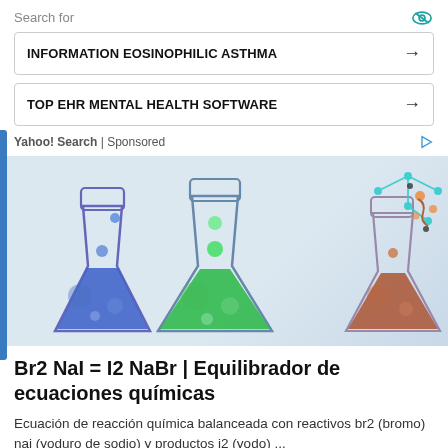Search for
INFORMATION EOSINOPHILIC ASTHMA →
TOP EHR MENTAL HEALTH SOFTWARE →
Yahoo! Search | Sponsored
[Figure (illustration): Three Erlenmeyer flasks with colored liquids: blue, green, and brown/orange. Molecular structure diagram in upper right corner. Light blue background.]
Br2 NaI = I2 NaBr | Equilibrador de ecuaciones químicas
Ecuación de reacción química balanceada con reactivos br2 (bromo) nai (yoduro de sodio) y productos i2 (yodo) ...
Be Ready Academy
[Figure (photo): Bottom portion of a page showing orange/brown colored image, partially visible.]